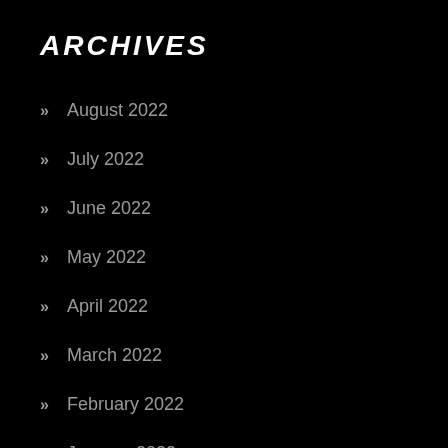ARCHIVES
» August 2022
» July 2022
» June 2022
» May 2022
» April 2022
» March 2022
» February 2022
» January 2022